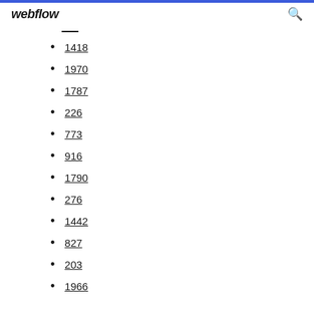webflow
1418
1970
1787
226
773
916
1790
276
1442
827
203
1966